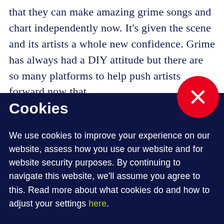that they can make amazing grime songs and chart independently now. It's given the scene and its artists a whole new confidence. Grime has always had a DIY attitude but there are so many platforms to help push artists forward now that
[Figure (other): Red circular close/dismiss button with white X icon, positioned at the right side overlapping the text and cookie banner boundary]
Cookies
We use cookies to improve your experience on our website, assess how you use our website and for website security purposes. By continuing to navigate this website, we'll assume you agree to this. Read more about what cookies do and how to adjust your settings here.